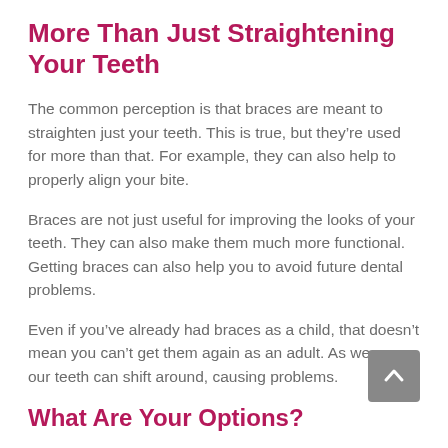More Than Just Straightening Your Teeth
The common perception is that braces are meant to straighten just your teeth. This is true, but they're used for more than that. For example, they can also help to properly align your bite.
Braces are not just useful for improving the looks of your teeth. They can also make them much more functional. Getting braces can also help you to avoid future dental problems.
Even if you've already had braces as a child, that doesn't mean you can't get them again as an adult. As we age, our teeth can shift around, causing problems.
What Are Your Options?